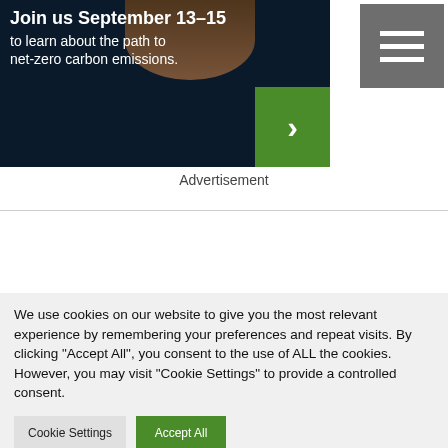[Figure (illustration): Advertisement banner: dark background with soil/earth imagery on right, large white bold text 'Join us September 13–15 to learn about the path to net-zero carbon emissions.' and a green box with white arrow on lower right.]
[Figure (other): Hamburger menu button: grey square with three white horizontal bars.]
Advertisement
We use cookies on our website to give you the most relevant experience by remembering your preferences and repeat visits. By clicking "Accept All", you consent to the use of ALL the cookies. However, you may visit "Cookie Settings" to provide a controlled consent.
Cookie Settings    Accept All